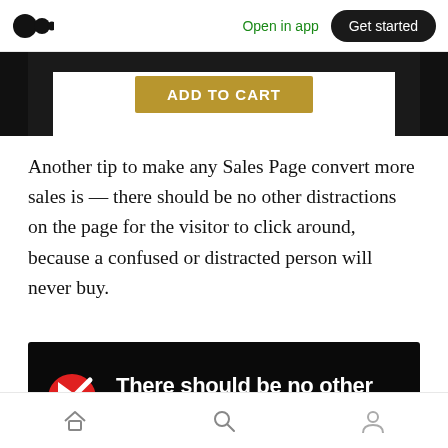Medium logo | Open in app | Get started
[Figure (screenshot): Dark background strip showing an 'ADD TO CART' button in gold/yellow color]
Another tip to make any Sales Page convert more sales is — there should be no other distractions on the page for the visitor to click around, because a confused or distracted person will never buy.
[Figure (infographic): Dark background panel with a red circle-slash cursor icon on the left, and white bold text reading 'There should be no other distractions on the page for']
Home | Search | Profile